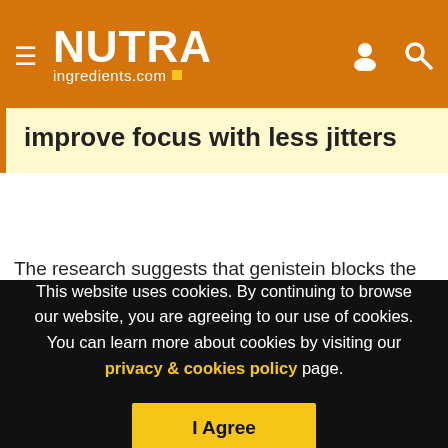NUTRAingredients.com
improve focus with less jitters
The research suggests that genistein blocks the growth and development of cancer cell lines in a dose- and time-dependent manner due to its ability to target copper and generate pro-oxidant signaling cascades that target cancer cells.
“Copper levels are known to be considerably elevated in almost
This website uses cookies. By continuing to browse our website, you are agreeing to our use of cookies. You can learn more about cookies by visiting our privacy & cookies policy page.
I Agree